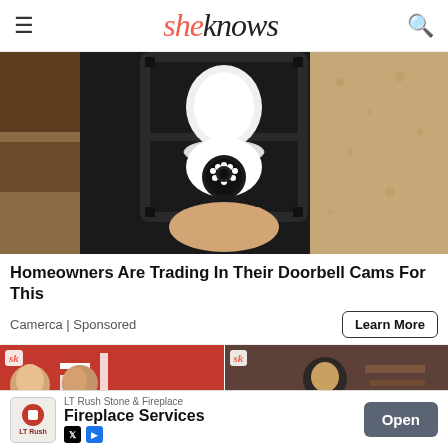sheknows
[Figure (photo): Outdoor wall lamp/lantern with a security camera bulb installed, person's hand installing it, textured stucco wall background]
Homeowners Are Trading In Their Doorbell Cams For This
Camerca | Sponsored
Learn More
[Figure (photo): Two thumbnail images from SheKnows articles - left shows people with American flags, right shows person with hat]
LT Rush Stone & Fireplace
Fireplace Services
Open